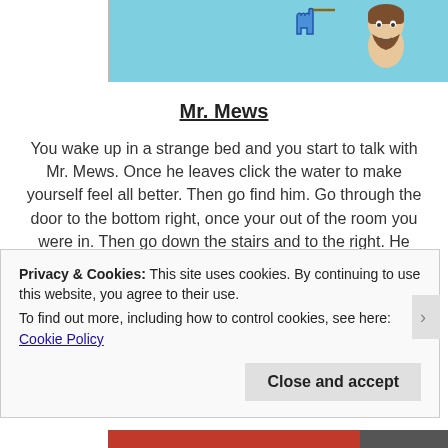[Figure (screenshot): Top portion of a webpage showing a light blue background with a cursor/hand icon and a cartoon character with brown hair on the right side.]
Mr. Mews
You wake up in a strange bed and you start to talk with Mr. Mews. Once he leaves click the water to make yourself feel all better. Then go find him. Go through the door to the bottom right, once your out of the room you were in. Then go down the stairs and to the right. He doesn't seem to be in there yet, so just click play on each station to see what you're going to be up against. If you get bored of learning stuff, just click close in each video. All together you can learn about Big Foot/Yeti, The Giant Squid, The Jersey
Privacy & Cookies: This site uses cookies. By continuing to use this website, you agree to their use.
To find out more, including how to control cookies, see here: Cookie Policy
Close and accept